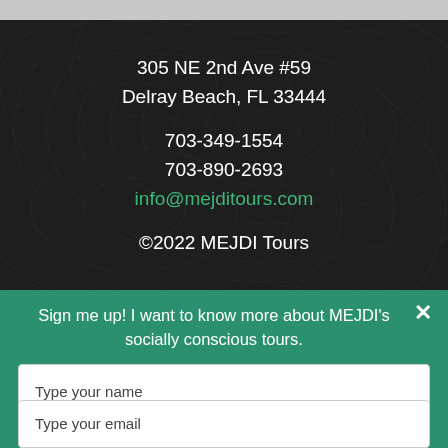305 NE 2nd Ave #59
Delray Beach, FL 33444
703-349-1554
703-890-2693
info@mejditours.com
©2022 MEJDI Tours
Sign me up! I want to know more about MEJDI's socially conscious tours.
Type your name
Type your email